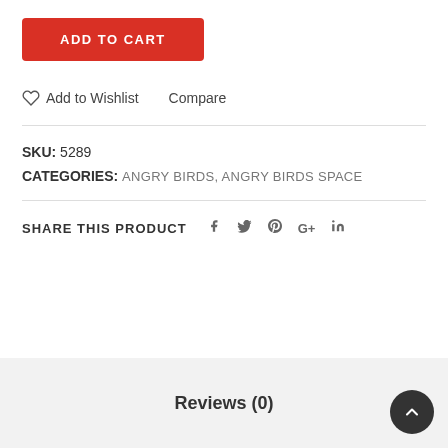ADD TO CART
Add to Wishlist    Compare
SKU: 5289
CATEGORIES: ANGRY BIRDS, ANGRY BIRDS SPACE
SHARE THIS PRODUCT  f  twitter  pinterest  G+  in
Reviews (0)